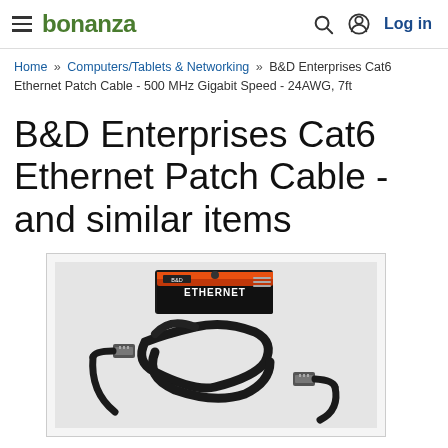bonanza | Log in
Home » Computers/Tablets & Networking » B&D Enterprises Cat6 Ethernet Patch Cable - 500 MHz Gigabit Speed - 24AWG, 7ft
B&D Enterprises Cat6 Ethernet Patch Cable - and similar items
[Figure (photo): Product photo of B&D Enterprises Cat6 Ethernet Patch Cable with packaging and black cable coiled]